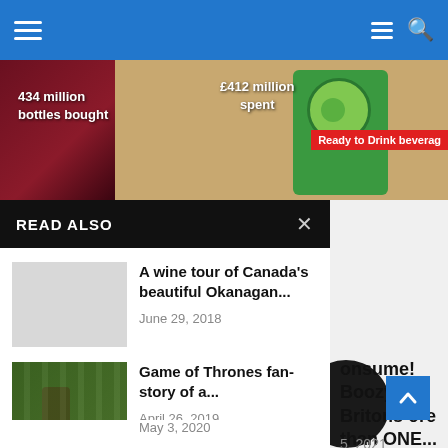Navigation header with hamburger menu, lines icon, and search icon on blue background
[Figure (photo): Banner image showing wine glass, text overlays '434 million bottles bought', '£412 million spent', green drink with lime, and red label 'Ready to Drink beverag']
READ ALSO
[Figure (photo): Thumbnail placeholder (light gray)]
A wine tour of Canada's beautiful Okanagan...
June 29, 2018
[Figure (photo): Thumbnail showing person in vineyard (Game of Thrones fan story)]
Game of Thrones fan- story of a...
April 26, 2019
[Figure (photo): Thumbnail showing food and drink pairing (What Drink Goes Best With Mexican Food)]
What Drink Goes Best With Mexican Food?
May 3, 2020
onsume! Boozy Britons ore than ONE...
5, 2021